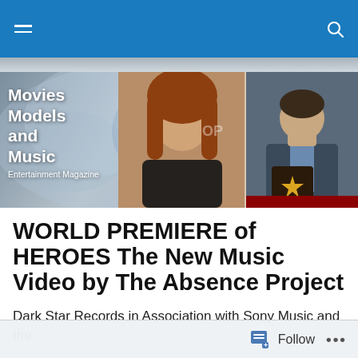Navigation bar with hamburger menu and search icon
[Figure (illustration): Movies Models and Music Entertainment Magazine banner with two celebrity photos and magazine title text]
WORLD PREMIERE of HEROES The New Music Video by The Absence Project
Dark Star Records in Association with Sony Music and the